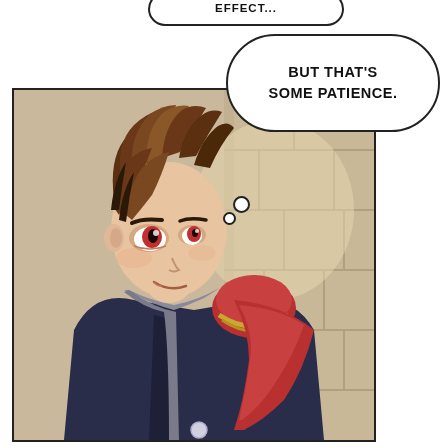EFFECT...
BUT THAT'S SOME PATIENCE.
[Figure (illustration): Manga-style illustration of a young male character with spiky brown hair and red eyes, wearing a dark navy coat with a red pauldron trimmed in gold, and a grey neck scarf. He is looking upward with a slight smirk. The background shows stone/brick wall with warm lighting.]